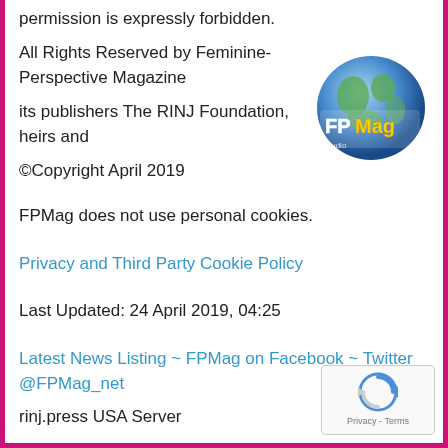permission is expressly forbidden.
All Rights Reserved by Feminine-Perspective Magazine
its publishers The RINJ Foundation, heirs and
©Copyright April 2019
FPMag does not use personal cookies.
Privacy and Third Party Cookie Policy
Last Updated: 24 April 2019, 04:25
Latest News Listing ~ FPMag on Facebook ~ Twitter @FPMag_net
[Figure (logo): FPMag globe logo with FPMag text]
rinj.press USA Server